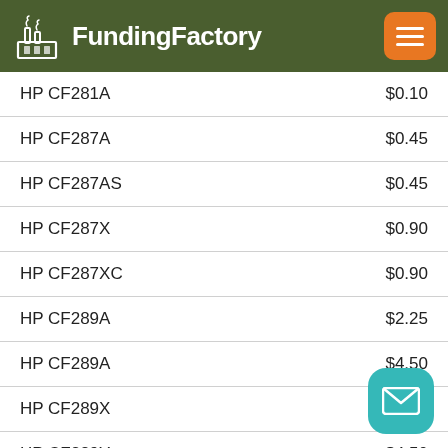FundingFactory
| Product | Price |
| --- | --- |
| HP CF281A | $0.10 |
| HP CF287A | $0.45 |
| HP CF287AS | $0.45 |
| HP CF287X | $0.90 |
| HP CF287XC | $0.90 |
| HP CF289A | $2.25 |
| HP CF289A | $4.50 |
| HP CF289X | $4.50 |
| HP CF289Y | $4.50 |
| HP CF289YC | $4.50 |
| HP CF294X | $0.25 |